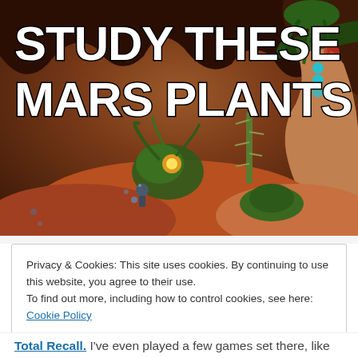[Figure (screenshot): Video game screenshot showing alien Mars-like landscape with strange plants and rock formations in reddish-brown cave environment. Large bold white text overlay reads 'STUDY THESE MARS PLANTS']
STUDY THESE MARS PLANTS
Privacy & Cookies: This site uses cookies. By continuing to use this website, you agree to their use.
To find out more, including how to control cookies, see here: Cookie Policy
Close and accept
Total Recall. I've even played a few games set there, like